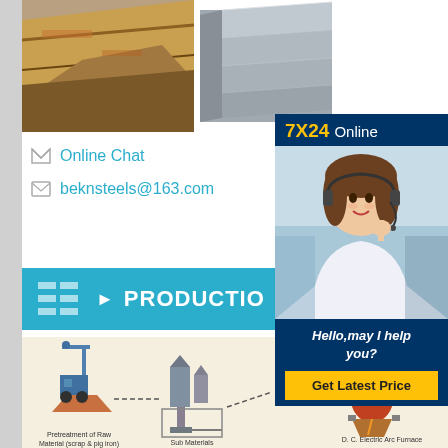[Figure (photo): Two steel plate product photos: left shows stacked rusty/weathered steel plates, right shows clean gray steel plate stack]
Online Chat
beknsteels@163.com
[Figure (infographic): 7X24 Online customer service chat popup with female headset operator photo, 'Hello,may I help you?' message and 'Get Latest Price' button]
PRODUCTION
[Figure (engineering-diagram): Steel production process flow diagram showing: Pretreatment of Raw Material (scrap & pig iron), Sub Materials, D.C. Electric Arc Furnace]